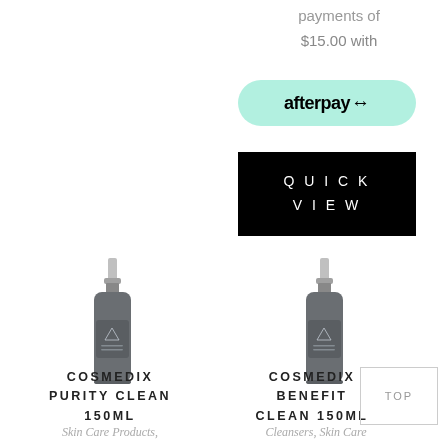payments of $15.00 with
[Figure (logo): Afterpay logo badge with mint/green rounded rectangle background and black 'afterpay' text with link icon]
[Figure (other): Black rectangle button with white uppercase text reading QUICK VIEW]
[Figure (photo): Cosmedix product bottle - dark grey cylindrical pump dispenser bottle]
COSMEDIX PURITY CLEAN 150ML
Skin Care Products,
[Figure (photo): Cosmedix product bottle - dark grey cylindrical pump dispenser bottle]
COSMEDIX BENEFIT CLEAN 150ML
Cleansers, Skin Care
[Figure (other): Small box with TOP text inside, positioned over product title area]